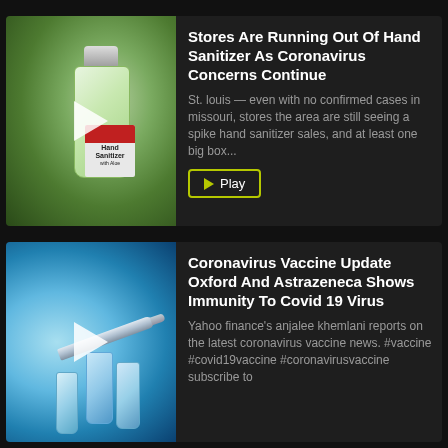[Figure (photo): Photo of hand sanitizer bottles on a shelf, with a play button overlay]
Stores Are Running Out Of Hand Sanitizer As Coronavirus Concerns Continue
St. louis — even with no confirmed cases in missouri, stores the area are still seeing a spike hand sanitizer sales, and at least one big box...
[Figure (photo): Photo of coronavirus vaccine vials and syringe, with a play button overlay]
Coronavirus Vaccine Update Oxford And Astrazeneca Shows Immunity To Covid 19 Virus
Yahoo finance's anjalee khemlani reports on the latest coronavirus vaccine news. #vaccine #covid19vaccine #coronavirusvaccine subscribe to